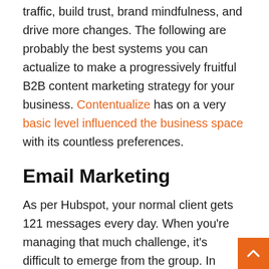With the correct techniques, you can create constant traffic, build trust, brand mindfulness, and drive more changes. The following are probably the best systems you can actualize to make a progressively fruitful B2B content marketing strategy for your business. Contentualize has on a very basic level influenced the business space with its countless preferences.
Email Marketing
As per Hubspot, your normal client gets 121 messages every day. When you're managing that much challenge, it's difficult to emerge from the group. In reality, numerous organizations send an excessive number of unimportant messages that overpower their subs.